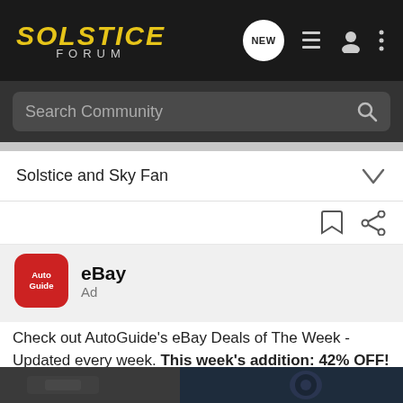SOLSTICE FORUM
Search Community
Solstice and Sky Fan
eBay
Ad
Check out AutoGuide's eBay Deals of The Week - Updated every week. This week's addition: 42% OFF! an Android vehicle monitor with dash cam and OBD2 scanner. And yes, it's CarPlay compatible.
[Figure (photo): Bottom portion of a car interior/dashboard photo with dark blue and black tones]